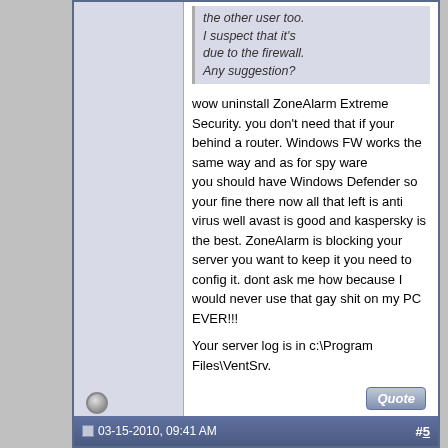the other user too. I suspect that it's due to the firewall. Any suggestion?
wow uninstall ZoneAlarm Extreme Security. you don't need that if your behind a router. Windows FW works the same way and as for spy ware
you should have Windows Defender so your fine there now all that left is anti virus well avast is good and kaspersky is the best. ZoneAlarm is blocking your server you want to keep it you need to config it. dont ask me how because I would never use that gay shit on my PC EVER!!!

Your server log is in c:\Program Files\VentSrv.
03-15-2010, 09:41 AM  #5